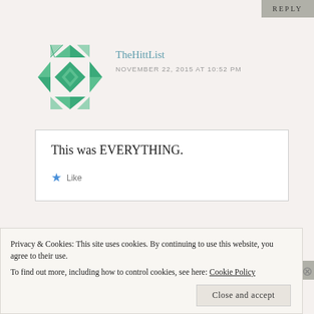REPLY
TheHittList
NOVEMBER 22, 2015 AT 10:52 PM
This was EVERYTHING.
Like
REPLY
Privacy & Cookies: This site uses cookies. By continuing to use this website, you agree to their use. To find out more, including how to control cookies, see here: Cookie Policy
Close and accept